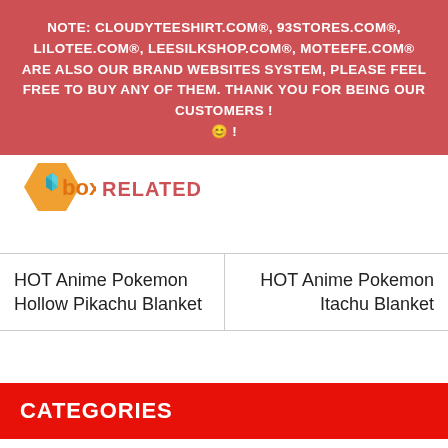NOTE: CLOUDYTEESHIRT.COM®, 93STORES.COM®, LILOTEE.COM®, LEESILKSHOP.COM®, MOTEEFE.COM® ARE ALSO OUR BRAND WEBSITES SYSTEM, PLEASE FEEL FREE TO BUY ANY OF THEM. THANK YOU FOR BEING OUR CUSTOMERS ! 😊 !
[Figure (logo): Box logo with orange and teal cube icon and orange 'box' text]
RELATED
| HOT Anime Pokemon Hollow Pikachu Blanket | HOT Anime Pokemon Itachu Blanket |
CATEGORIES